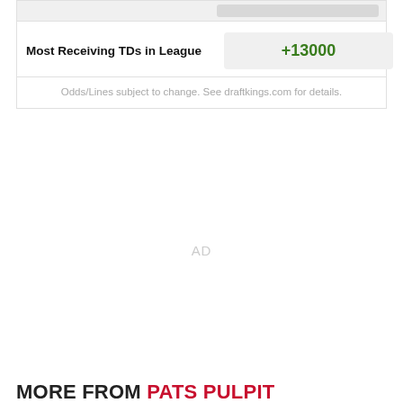| Most Receiving TDs in League |  |
| --- | --- |
| Most Receiving TDs in League | +13000 |
Odds/Lines subject to change. See draftkings.com for details.
AD
MORE FROM PATS PULPIT